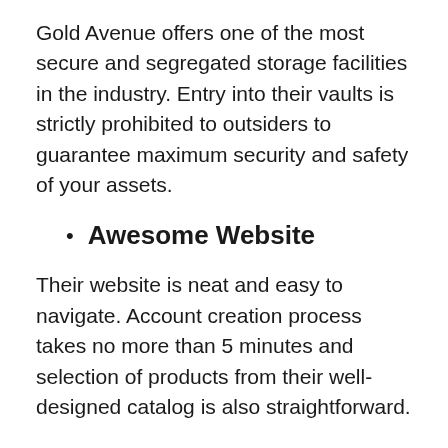Gold Avenue offers one of the most secure and segregated storage facilities in the industry. Entry into their vaults is strictly prohibited to outsiders to guarantee maximum security and safety of your assets.
Awesome Website
Their website is neat and easy to navigate. Account creation process takes no more than 5 minutes and selection of products from their well-designed catalog is also straightforward.